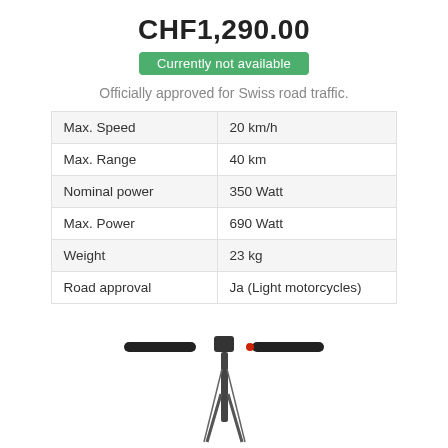CHF1,290.00
Currently not available
Officially approved for Swiss road traffic.
| Max. Speed | 20 km/h |
| Max. Range | 40 km |
| Nominal power | 350 Watt |
| Max. Power | 690 Watt |
| Weight | 23 kg |
| Road approval | Ja (Light motorcycles) |
[Figure (photo): Electric scooter handlebar and stem viewed from front against white background]